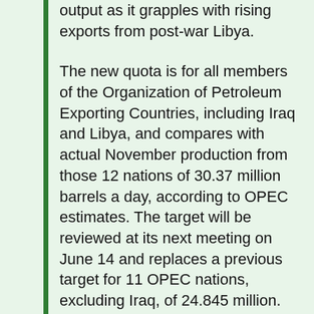output as it grapples with rising exports from post-war Libya.
The new quota is for all members of the Organization of Petroleum Exporting Countries, including Iraq and Libya, and compares with actual November production from those 12 nations of 30.37 million barrels a day, according to OPEC estimates. The target will be reviewed at its next meeting on June 14 and replaces a previous target for 11 OPEC nations, excluding Iraq, of 24.845 million.
"We have an agreement to maintain the market in balance and we're going to adjust the level of production of each country to open space for Libyan production," Venezuelan Energy Minister Rafael Ramirez said in Vienna after OPEC's conference ended today.